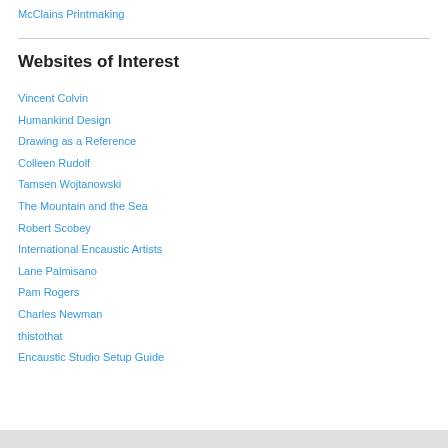McClains Printmaking
Websites of Interest
Vincent Colvin
Humankind Design
Drawing as a Reference
Colleen Rudolf
Tamsen Wojtanowski
The Mountain and the Sea
Robert Scobey
International Encaustic Artists
Lane Palmisano
Pam Rogers
Charles Newman
thistothat
Encaustic Studio Setup Guide